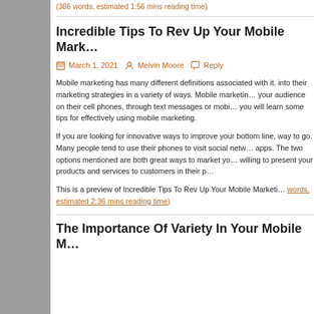(386 words, estimated 1:56 mins reading time)
Incredible Tips To Rev Up Your Mobile Mark...
March 1, 2021   Melvin Moore   Reply
Mobile marketing has many different definitions associated with it. into their marketing strategies in a variety of ways. Mobile marketing your audience on their cell phones, through text messages or mobi you will learn some tips for effectively using mobile marketing.
If you are looking for innovative ways to improve your bottom line, way to go. Many people tend to use their phones to visit social netw apps. The two options mentioned are both great ways to market yo willing to present your products and services to customers in their p
This is a preview of Incredible Tips To Rev Up Your Mobile Marketi words, estimated 2:36 mins reading time)
The Importance Of Variety In Your Mobile M...